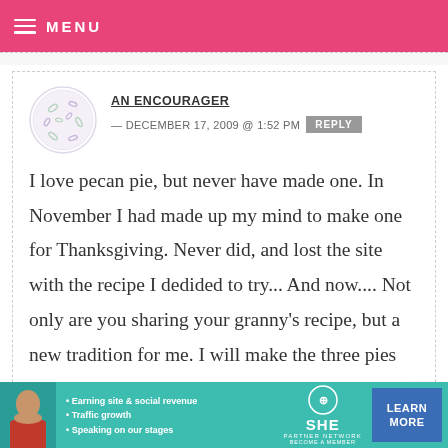MENU
AN ENCOURAGER — DECEMBER 17, 2009 @ 1:52 PM  REPLY
I love pecan pie, but never have made one. In November I had made up my mind to make one for Thanksgiving. Never did, and lost the site with the recipe I dedided to try... And now.... Not only are you sharing your granny's recipe, but a new tradition for me. I will make the three pies and pray
[Figure (infographic): SHE Partner Network advertisement banner with bullet points: Earning site & social revenue, Traffic growth, Speaking on our stages. Includes woman photo, SHE logo, and Learn More button.]